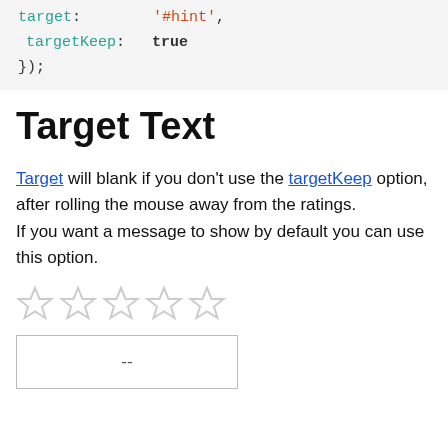target:        '#hint',
    targetKeep:    true
});
Target Text
Target will blank if you don't use the targetKeep option, after rolling the mouse away from the ratings.
If you want a message to show by default you can use this option.
[Figure (illustration): Five empty star rating icons in a row]
[Figure (other): A bordered text box displaying '--']